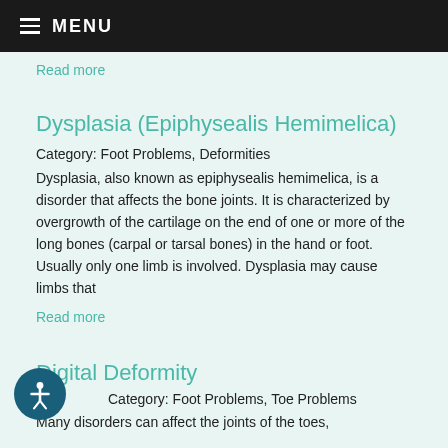MENU
Read more
Dysplasia (Epiphysealis Hemimelica)
Category: Foot Problems, Deformities
Dysplasia, also known as epiphysealis hemimelica, is a disorder that affects the bone joints. It is characterized by overgrowth of the cartilage on the end of one or more of the long bones (carpal or tarsal bones) in the hand or foot. Usually only one limb is involved. Dysplasia may cause limbs that
Read more
Digital Deformity
Category: Foot Problems, Toe Problems
Many disorders can affect the joints of the toes,